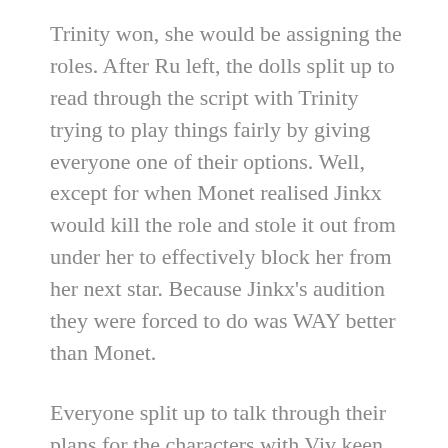Trinity won, she would be assigning the roles. After Ru left, the dolls split up to read through the script with Trinity trying to play things fairly by giving everyone one of their options. Well, except for when Monet realised Jinkx would kill the role and stole it out from under her to effectively block her from her next star. Because Jinkx’s audition they were forced to do was WAY better than Monet.
Everyone split up to talk through their plans for the characters with Viv keen to go full Joan Crawford, while Raja was looking to tap into her kooky goth vibes and be disinterested, packed full of angst and ugh, I can’t wait to see it. Jaida and Yvie meanwhile were worried about going up against such talented actors, though Jaida did admit she could easily see a